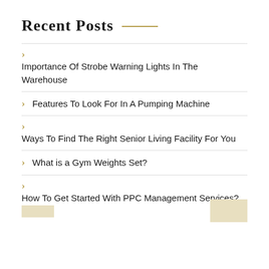Recent Posts
Importance Of Strobe Warning Lights In The Warehouse
Features To Look For In A Pumping Machine
Ways To Find The Right Senior Living Facility For You
What is a Gym Weights Set?
How To Get Started With PPC Management Services?